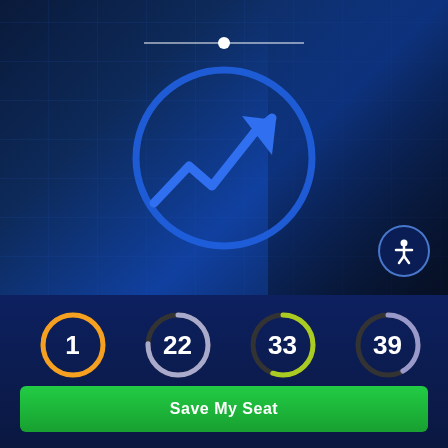[Figure (illustration): Dark blue financial/market themed hero section with grid lines and a trending upward arrow icon inside a blue circle. A slider bar with white dot is at the top center. An accessibility icon button is in the bottom right corner.]
[Figure (infographic): Countdown timer showing 1 Days, 22 Hours, 33 Minutes, 39 Seconds with circular progress indicators. Days circle is orange, Hours is gray/white, Minutes is yellow-green, Seconds is light purple.]
Save My Seat